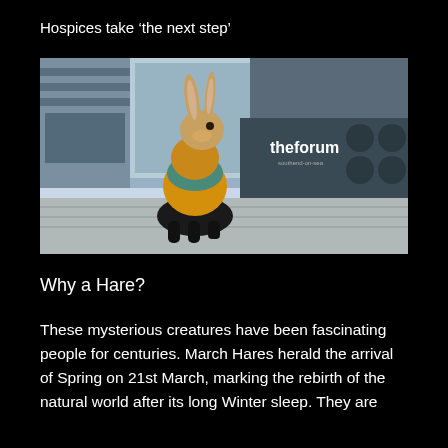Hospices take ‘the next step’
[Figure (photo): A decorative hare sculpture with colourful painted design (yellow, teal, black) positioned outside The Forum building in Southend-on-Sea. The building signage reads 'theforum southend-on-sea'.]
Why a Hare?
These mysterious creatures have been fascinating people for centuries. March Hares herald the arrival of Spring on 21st March, marking the rebirth of the natural world after its long Winter sleep. They are